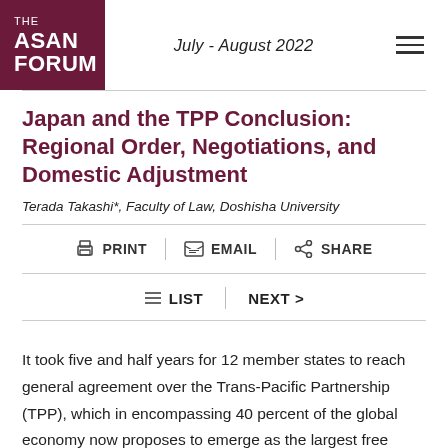THE ASAN FORUM | July - August 2022
Japan and the TPP Conclusion: Regional Order, Negotiations, and Domestic Adjustment
Terada Takashi*, Faculty of Law, Doshisha University
PRINT | EMAIL | SHARE
LIST | NEXT >
It took five and half years for 12 member states to reach general agreement over the Trans-Pacific Partnership (TPP), which in encompassing 40 percent of the global economy now proposes to emerge as the largest free trade agreement (FTA) in history.